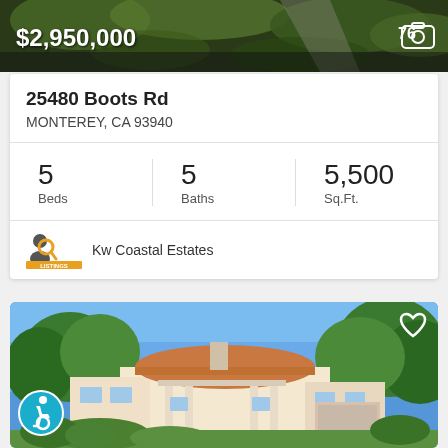[Figure (photo): Aerial/overhead view of property with foliage, showing price overlay $2,950,000 and photo count 76]
25480 Boots Rd
MONTEREY, CA 93940
5 Beds   5 Baths   5,500 Sq.Ft.
Kw Coastal Estates
[Figure (photo): Exterior photo of large Mediterranean-style two-story home with terra cotta tile roof, columns, and landscaping under blue sky. Accessibility icon in bottom left, heart icon in top right.]